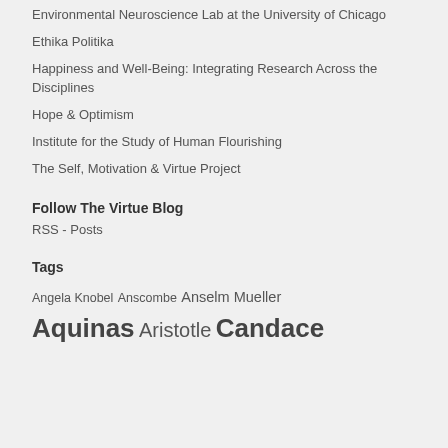Environmental Neuroscience Lab at the University of Chicago
Ethika Politika
Happiness and Well-Being: Integrating Research Across the Disciplines
Hope & Optimism
Institute for the Study of Human Flourishing
The Self, Motivation & Virtue Project
Follow The Virtue Blog
RSS - Posts
Tags
Angela Knobel Anscombe Anselm Mueller Aquinas Aristotle Candace